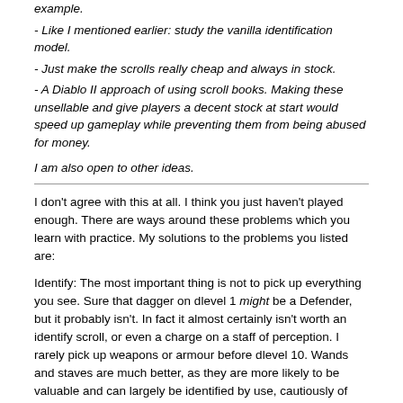- Like I mentioned earlier: study the vanilla identification model.
- Just make the scrolls really cheap and always in stock.
- A Diablo II approach of using scroll books. Making these unsellable and give players a decent stock at start would speed up gameplay while preventing them from being abused for money.
I am also open to other ideas.
I don't agree with this at all. I think you just haven't played enough. There are ways around these problems which you learn with practice. My solutions to the problems you listed are:
Identify: The most important thing is not to pick up everything you see. Sure that dagger on dlevel 1 might be a Defender, but it probably isn't. In fact it almost certainly isn't worth an identify scroll, or even a charge on a staff of perception. I rarely pick up weapons or armour before dlevel 10. Wands and staves are much better, as they are more likely to be valuable and can largely be identified by use, cautiously of course. Scrolls and potions are best identified by selling in the early game.
WoR: I don't use WoR to go down in the early game. I often don't use it to go down in the mid or late game, as I often don't want to go down to my max depth. So I am using one scroll per trip. I just need to make sure that I collect some stuff worth one scroll per trip. Since I typical dive to at least dlevel 12 on my first trip I am almost certain to find